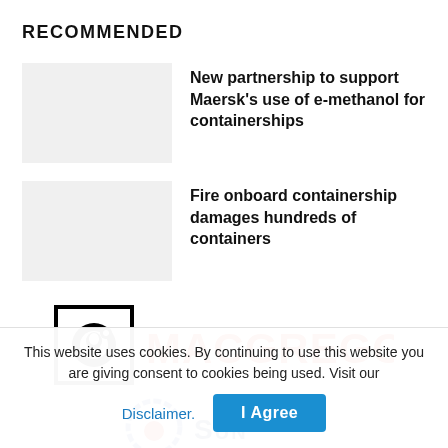RECOMMENDED
New partnership to support Maersk's use of e-methanol for containerships
Fire onboard containership damages hundreds of containers
[Figure (logo): MacGregor company logo — black square with stylized bird/anchor icon on left, bold red MACGREGOR text on right]
[Figure (logo): Partial Sun logo with blue circular decorative border and red element, with 'Sun' text in dark blue]
This website uses cookies. By continuing to use this website you are giving consent to cookies being used. Visit our
Disclaimer.
I Agree